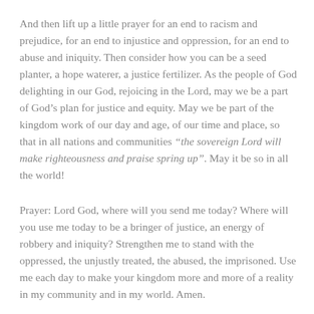And then lift up a little prayer for an end to racism and prejudice, for an end to injustice and oppression, for an end to abuse and iniquity. Then consider how you can be a seed planter, a hope waterer, a justice fertilizer. As the people of God delighting in our God, rejoicing in the Lord, may we be a part of God's plan for justice and equity. May we be part of the kingdom work of our day and age, of our time and place, so that in all nations and communities “the sovereign Lord will make righteousness and praise spring up”. May it be so in all the world!
Prayer: Lord God, where will you send me today? Where will you use me today to be a bringer of justice, an energy of robbery and iniquity? Strengthen me to stand with the oppressed, the unjustly treated, the abused, the imprisoned. Use me each day to make your kingdom more and more of a reality in my community and in my world. Amen.